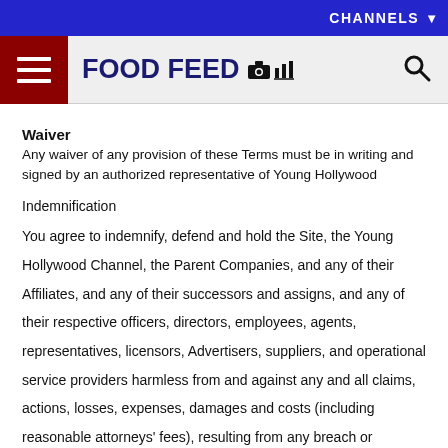CHANNELS
FOOD FEED
Waiver
Any waiver of any provision of these Terms must be in writing and signed by an authorized representative of Young Hollywood
Indemnification
You agree to indemnify, defend and hold the Site, the Young Hollywood Channel, the Parent Companies, and any of their Affiliates, and any of their successors and assigns, and any of their respective officers, directors, employees, agents, representatives, licensors, Advertisers, suppliers, and operational service providers harmless from and against any and all claims, actions, losses, expenses, damages and costs (including reasonable attorneys' fees), resulting from any breach or